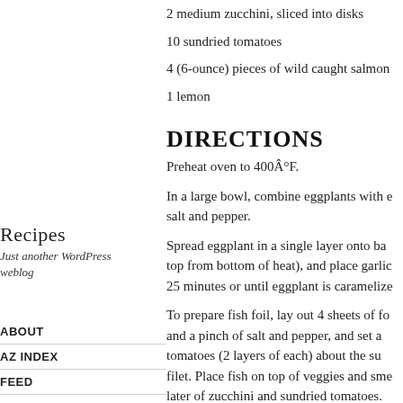2 medium zucchini, sliced into disks
10 sundried tomatoes
4 (6-ounce) pieces of wild caught salmon
1 lemon
DIRECTIONS
Preheat oven to 400Â°F.
In a large bowl, combine eggplants with e... salt and pepper.
Spread eggplant in a single layer onto ba... top from bottom of heat), and place garlic... 25 minutes or until eggplant is caramelize...
To prepare fish foil, lay out 4 sheets of fo... and a pinch of salt and pepper, and set a... tomatoes (2 layers of each) about the su... filet. Place fish on top of veggies and sme... later of zucchini and sundried tomatoes.... and place used wedge right on top.
Recipes
Just another WordPress weblog
ABOUT
AZ INDEX
FEED